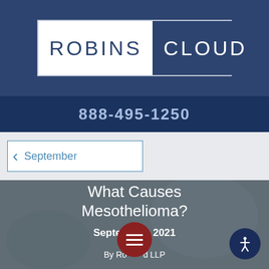[Figure (logo): Robins Cloud law firm logo — white box with 'ROBINS' in navy and 'CLOUD' in white on navy background, on a dark navy header]
888-495-1250
September
[Figure (photo): Article hero image with gray overlay showing 'What Causes Mesothelioma?' title, date 'September 15, 2021', byline 'By Robins Cloud LLP', with menu hamburger icon and accessibility button overlaid]